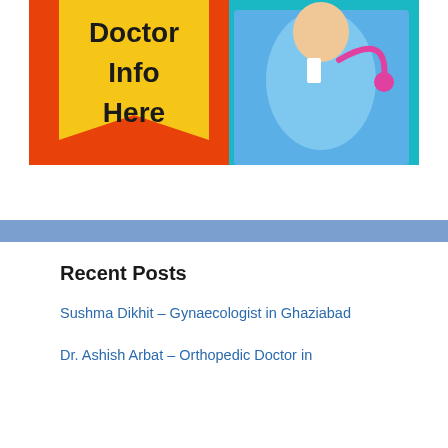[Figure (illustration): Banner image showing 'Doctor Info Here' text on a yellow/orange bookmark shape on the left, and a doctor in blue scrubs holding a pink stethoscope on a teal background on the right.]
Recent Posts
Sushma Dikhit – Gynaecologist in Ghaziabad
Dr. Ashish Arbat – Orthopedic Doctor in